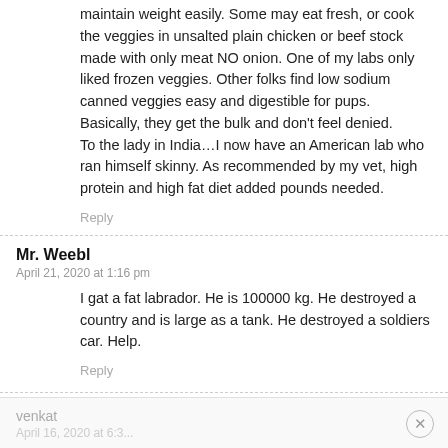maintain weight easily. Some may eat fresh, or cook the veggies in unsalted plain chicken or beef stock made with only meat NO onion. One of my labs only liked frozen veggies. Other folks find low sodium canned veggies easy and digestible for pups. Basically, they get the bulk and don't feel denied.
To the lady in India…I now have an American lab who ran himself skinny. As recommended by my vet, high protein and high fat diet added pounds needed.
Reply
Mr. Weebl
April 21, 2020 at 1:16 pm
I gat a fat labrador. He is 100000 kg. He destroyed a country and is large as a tank. He destroyed a soldiers car. Help.
Reply
venkat